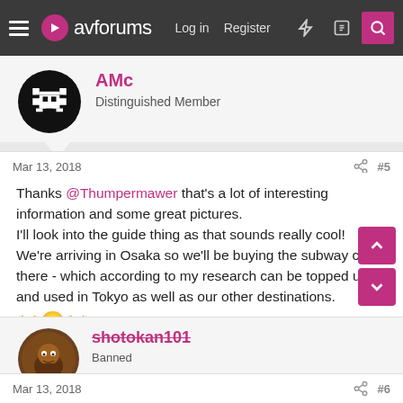avforums — Log in | Register
AMc
Distinguished Member
Mar 13, 2018  #5
Thanks @Thumpermawer that's a lot of interesting information and some great pictures.
I'll look into the guide thing as that sounds really cool!
We're arriving in Osaka so we'll be buying the subway card there - which according to my research can be topped up and used in Tokyo as well as our other destinations.
shotokan101
Banned
Mar 13, 2018  #6